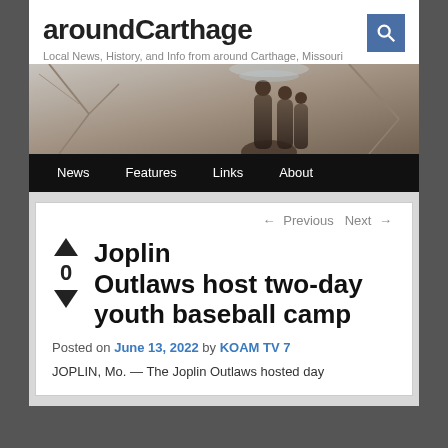aroundCarthage
Local News, History, and Info from around Carthage, Missouri
[Figure (photo): Header photo of bronze fountain sculpture with figures, bare trees in background]
News  Features  Links  About
← Previous  Next →
Joplin Outlaws host two-day youth baseball camp
Posted on June 13, 2022 by KOAM TV 7
JOPLIN, Mo. — The Joplin Outlaws hosted day